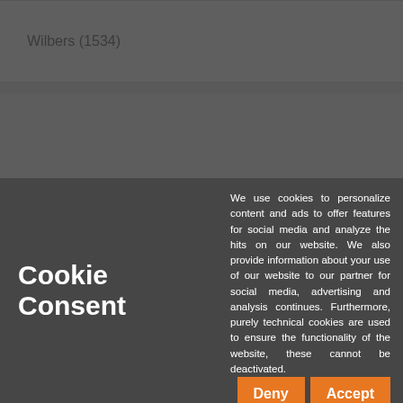Wilbers (1534)
ZARD (132)
other brands (3,965)
TOP OFFERS
Cookie Consent
We use cookies to personalize content and ads to offer features for social media and analyze the hits on our website. We also provide information about your use of our website to our partner for social media, advertising and analysis continues. Furthermore, purely technical cookies are used to ensure the functionality of the website, these cannot be deactivated.
Deny
Accept
Detailed Information
0 Product